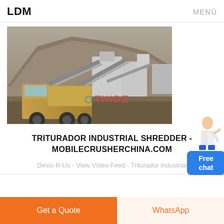LDM    MENÚ
[Figure (photo): Industrial mobile crushing plant at a quarry site, with dump truck in foreground and conveyor belts and machinery in background. THIDE watermark visible.]
TRITURADOR INDUSTRIAL SHREDDER - MOBILECRUSHERCHINA.COM
Desis-R-Us - View Video Feed - Triturador Industrial
Get a Quote
WhatsApp